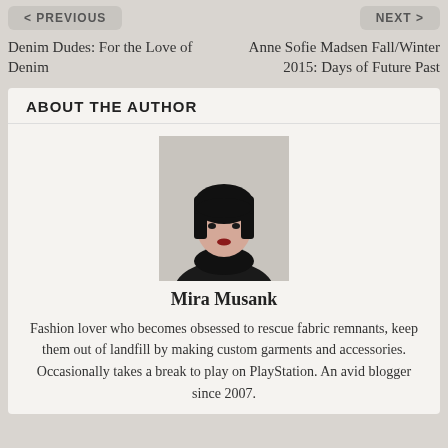< PREVIOUS
NEXT >
Denim Dudes: For the Love of Denim
Anne Sofie Madsen Fall/Winter 2015: Days of Future Past
ABOUT THE AUTHOR
[Figure (photo): Portrait photo of author Mira Musank, a woman with a short black bob haircut wearing a black outfit with lace detail, photographed against a light background.]
Mira Musank
Fashion lover who becomes obsessed to rescue fabric remnants, keep them out of landfill by making custom garments and accessories. Occasionally takes a break to play on PlayStation. An avid blogger since 2007.